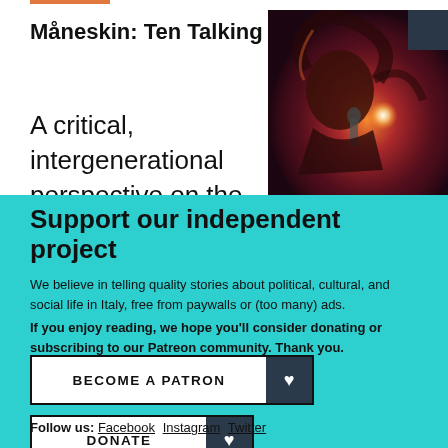Måneskin: Ten Talking Points
A critical, intergenerational perspective on the
[Figure (photo): Concert photo of a female vocalist singing into a microphone with dramatic red/orange stage lighting and lens flare]
Support our independent project
We believe in telling quality stories about political, cultural, and social life in Italy, free from paywalls or (too many) ads. If you enjoy reading, we hope you'll consider donating or subscribing to our Patreon community. Thank you.
BECOME A PATRON
DONATE
Follow us: Facebook Instagram Twitter